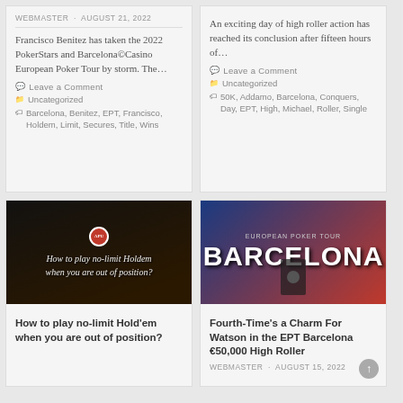WEBMASTER · AUGUST 21, 2022
Francisco Benitez has taken the 2022 PokerStars and Barcelona©Casino European Poker Tour by storm. The…
Leave a Comment
Uncategorized
Barcelona, Benitez, EPT, Francisco, Holdem, Limit, Secures, Title, Wins
An exciting day of high roller action has reached its conclusion after fifteen hours of…
Leave a Comment
Uncategorized
50K, Addamo, Barcelona, Conquers, Day, EPT, High, Michael, Roller, Single
[Figure (photo): Dark photo of poker chips on a table with text overlay: How to play no-limit Holdem when you are out of position?]
How to play no-limit Hold'em when you are out of position?
[Figure (photo): European Poker Tour Barcelona banner with person in front]
Fourth-Time's a Charm For Watson in the EPT Barcelona €50,000 High Roller
WEBMASTER · AUGUST 15, 2022